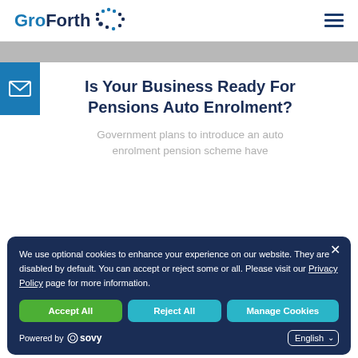GroForth [logo with dots]
Is Your Business Ready For Pensions Auto Enrolment?
Government plans to introduce an auto enrolment pension scheme have
We use optional cookies to enhance your experience on our website. They are disabled by default. You can accept or reject some or all. Please visit our Privacy Policy page for more information.
Accept All | Reject All | Manage Cookies
Powered by Sovy  English